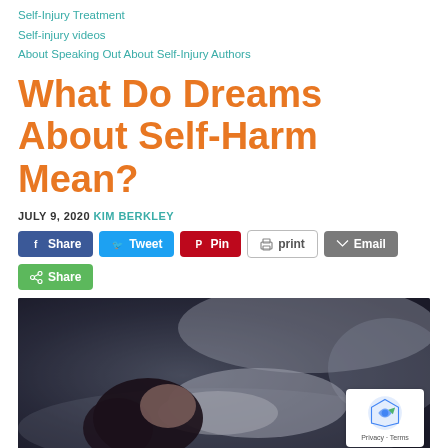Self-Injury Treatment
Self-injury videos
About Speaking Out About Self-Injury Authors
What Do Dreams About Self-Harm Mean?
JULY 9, 2020 KIM BERKLEY
[Figure (screenshot): Social share buttons: Facebook Share, Twitter Tweet, Pinterest Pin, Print, Email, and a green Share button]
[Figure (photo): A woman with dark hair lying in bed, looking distressed, in a dark room with white pillows and bedding. A reCAPTCHA badge is overlaid in the bottom right corner.]